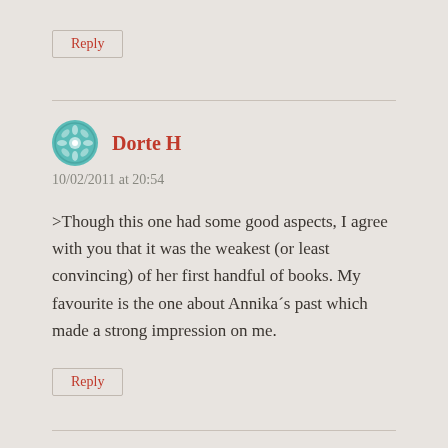Reply
Dorte H
10/02/2011 at 20:54
>Though this one had some good aspects, I agree with you that it was the weakest (or least convincing) of her first handful of books. My favourite is the one about Annika´s past which made a strong impression on me.
Reply